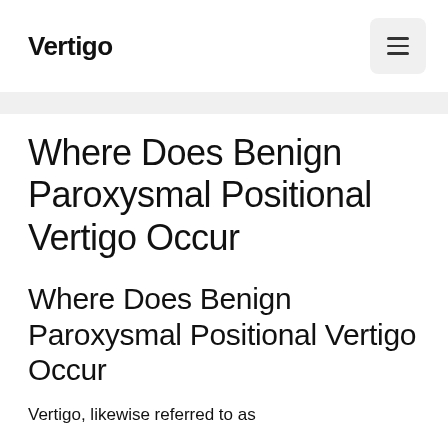Vertigo
Where Does Benign Paroxysmal Positional Vertigo Occur
Where Does Benign Paroxysmal Positional Vertigo Occur
Vertigo, likewise referred to as